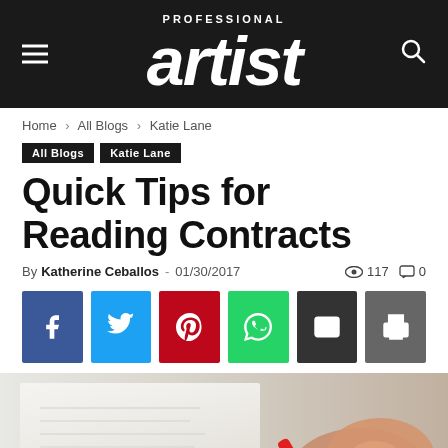Professional Artist — site header with logo, hamburger menu, and search icon
Home › All Blogs › Katie Lane
All Blogs  Katie Lane
Quick Tips for Reading Contracts
By Katherine Ceballos - 01/30/2017  👁 117  💬 0
[Figure (infographic): Row of six social share buttons: Facebook (blue), Twitter (light blue), Pinterest (red), WhatsApp (green), Email (dark), Print (grey)]
[Figure (photo): Photo of a person's hand holding a red pen over a document, writing or signing, close-up, blurred background]